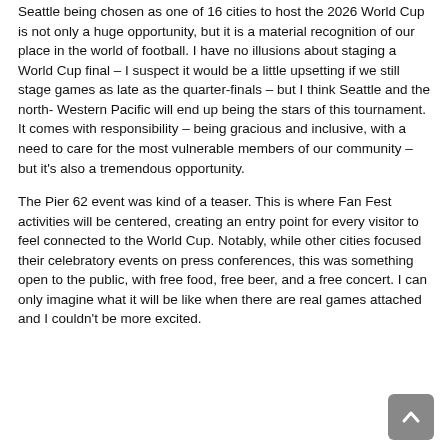Seattle being chosen as one of 16 cities to host the 2026 World Cup is not only a huge opportunity, but it is a material recognition of our place in the world of football. I have no illusions about staging a World Cup final – I suspect it would be a little upsetting if we still stage games as late as the quarter-finals – but I think Seattle and the north- Western Pacific will end up being the stars of this tournament. It comes with responsibility – being gracious and inclusive, with a need to care for the most vulnerable members of our community – but it's also a tremendous opportunity.
The Pier 62 event was kind of a teaser. This is where Fan Fest activities will be centered, creating an entry point for every visitor to feel connected to the World Cup. Notably, while other cities focused their celebratory events on press conferences, this was something open to the public, with free food, free beer, and a free concert. I can only imagine what it will be like when there are real games attached and I couldn't be more excited.